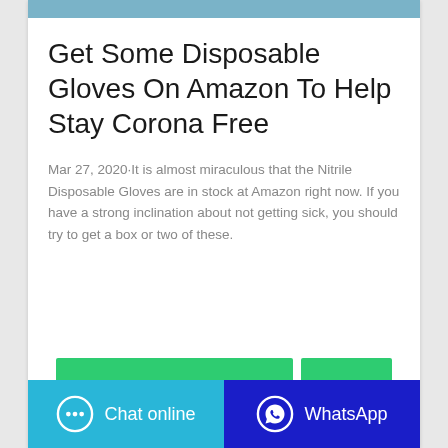[Figure (photo): Top image bar in muted blue/teal color]
Get Some Disposable Gloves On Amazon To Help Stay Corona Free
Mar 27, 2020·It is almost miraculous that the Nitrile Disposable Gloves are in stock at Amazon right now. If you have a strong inclination about not getting sick, you should try to get a box or two of these.
[Figure (screenshot): Green call-to-action buttons strip at bottom]
Chat online | WhatsApp